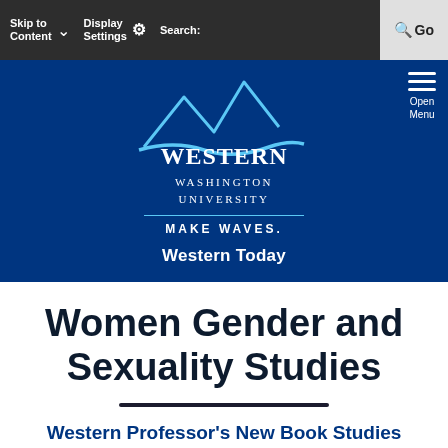Skip to Content | Display Settings | Search: | Go
[Figure (logo): Western Washington University logo with mountain/wave graphic and tagline MAKE WAVES.]
Western Today
Women Gender and Sexuality Studies
Western Professor's New Book Studies